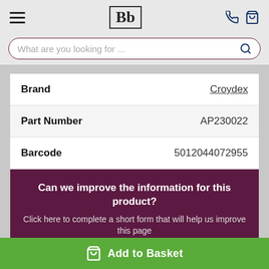[Figure (logo): Bb logo in a square border — BathBathroom or similar retailer brand logo]
| Field | Value |
| --- | --- |
| Brand | Croydex |
| Part Number | AP230022 |
| Barcode | 5012044072955 |
Can we improve the information for this product? Click here to complete a short form that will help us improve this page
Add to Basket